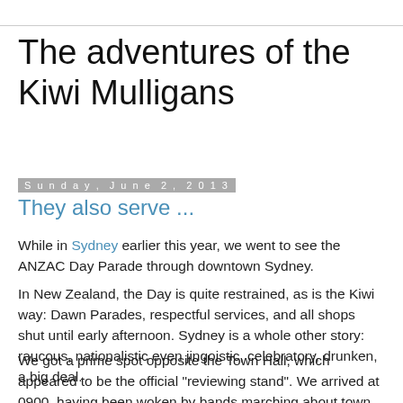The adventures of the Kiwi Mulligans
Sunday, June 2, 2013
They also serve ...
While in Sydney earlier this year, we went to see the ANZAC Day Parade through downtown Sydney.
In New Zealand, the Day is quite restrained, as is the Kiwi way: Dawn Parades, respectful services, and all shops shut until early afternoon. Sydney is a whole other story: raucous, nationalistic even jingoistic, celebratory, drunken, a big deal.
We got a prime spot opposite the Town Hall, which appeared to be the official "reviewing stand". We arrived at 0900, having been woken by bands marching about town near our hotel. So we knew we had to move. And there we stayed.